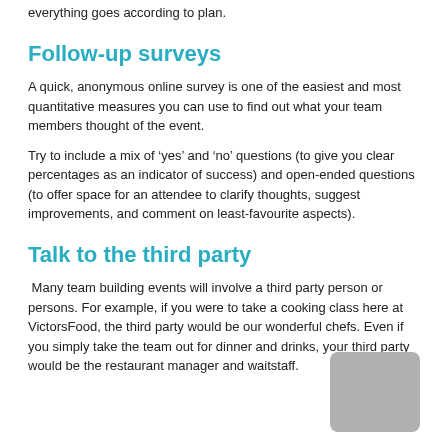everything goes according to plan.
Follow-up surveys
A quick, anonymous online survey is one of the easiest and most quantitative measures you can use to find out what your team members thought of the event.
Try to include a mix of ‘yes’ and ‘no’ questions (to give you clear percentages as an indicator of success) and open-ended questions (to offer space for an attendee to clarify thoughts, suggest improvements, and comment on least-favourite aspects).
Talk to the third party
Many team building events will involve a third party person or persons. For example, if you were to take a cooking class here at VictorsFood, the third party would be our wonderful chefs. Even if you simply take the team out for dinner and drinks, your third party would be the restaurant manager and waitstaff.